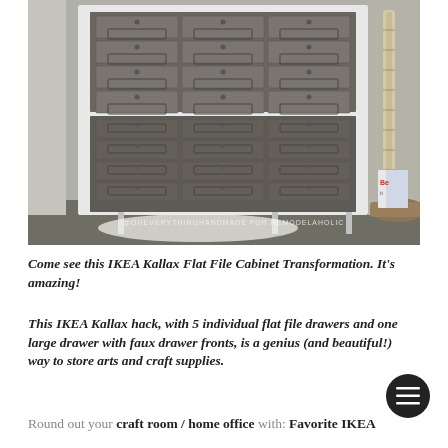[Figure (photo): Photo of an IKEA Kallax dresser transformed into a flat file cabinet with dark wood drawer fronts, metal label holders and knobs, white frame and metal legs. A wicker basket with magazines and a macrame decorative post are visible to the right. Watermark reads '@OhEverythingHandmade for Remodelaholic'.]
Come see this IKEA Kallax Flat File Cabinet Transformation. It's amazing!
This IKEA Kallax hack, with 5 individual flat file drawers and one large drawer with faux drawer fronts, is a genius (and beautiful!) way to store arts and craft supplies.
Round out your craft room / home office with: Favorite IKEA